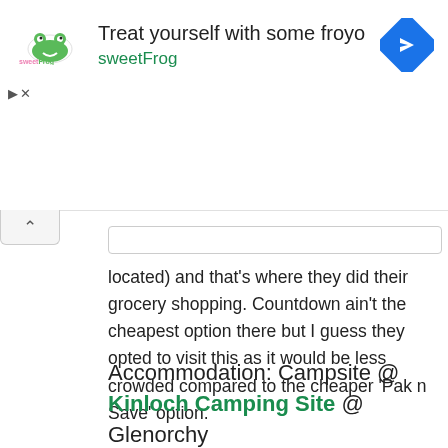[Figure (other): SweetFrog frozen yogurt advertisement banner with logo, headline 'Treat yourself with some froyo', brand name 'sweetFrog', and a blue diamond navigation icon]
located) and that’s where they did their grocery shopping. Countdown ain’t the cheapest option there but I guess they opted to visit this as it would be less crowded compared to the cheaper ‘Pak n Save’ option.
Accommodation: Campsite @ Kinloch Camping Site @ Glenorchy